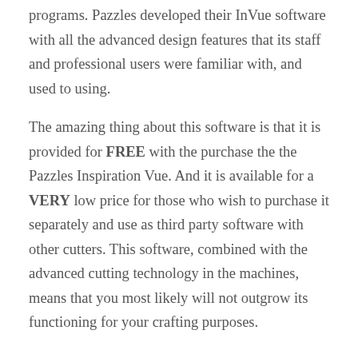programs. Pazzles developed their InVue software with all the advanced design features that its staff and professional users were familiar with, and used to using.
The amazing thing about this software is that it is provided for FREE with the purchase the the Pazzles Inspiration Vue. And it is available for a VERY low price for those who wish to purchase it separately and use as third party software with other cutters. This software, combined with the advanced cutting technology in the machines, means that you most likely will not outgrow its functioning for your crafting purposes.
What is your Price Point?
Some people like to start their cutting adventure with a